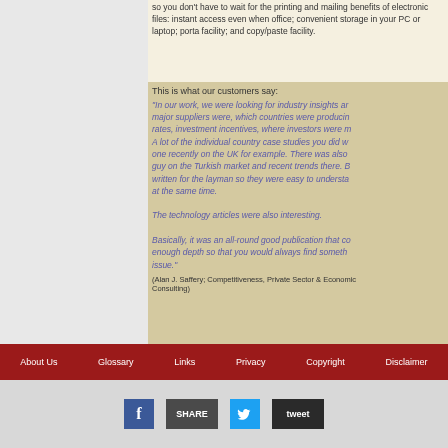so you don't have to wait for the printing and mailing benefits of electronic files: instant access even when office; convenient storage in your PC or laptop; porta facility; and copy/paste facility.
This is what our customers say:
"In our work, we were looking for industry insights ar major suppliers were, which countries were producin rates, investment incentives, where investors were m A lot of the individual country case studies you did w one recently on the UK for example. There was also guy on the Turkish market and recent trends there. B written for the layman so they were easy to understa at the same time.

The technology articles were also interesting.

Basically, it was an all-round good publication that co enough depth so that you would always find someth issue."
(Alan J. Saffery; Competitiveness, Private Sector & Economic Consulting)
About Us   Glossary   Links   Privacy   Copyright   Disclaimer